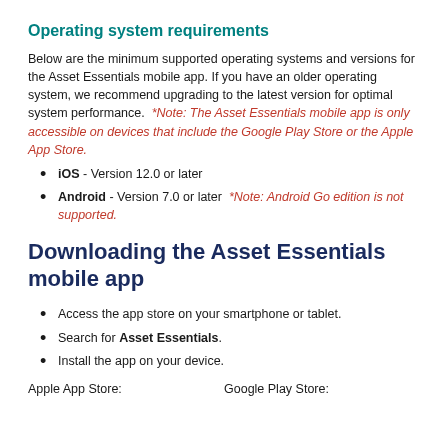Operating system requirements
Below are the minimum supported operating systems and versions for the Asset Essentials mobile app. If you have an older operating system, we recommend upgrading to the latest version for optimal system performance. *Note: The Asset Essentials mobile app is only accessible on devices that include the Google Play Store or the Apple App Store.
iOS - Version 12.0 or later
Android - Version 7.0 or later *Note: Android Go edition is not supported.
Downloading the Asset Essentials mobile app
Access the app store on your smartphone or tablet.
Search for Asset Essentials.
Install the app on your device.
Apple App Store:                    Google Play Store: